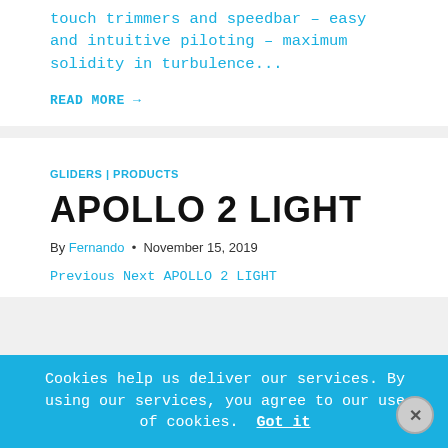touch trimmers and speedbar – easy and intuitive piloting – maximum solidity in turbulence...
READ MORE →
GLIDERS | PRODUCTS
APOLLO 2 LIGHT
By Fernando • November 15, 2019
Previous Next APOLLO 2 LIGHT
Cookies help us deliver our services. By using our services, you agree to our use of cookies. Got it